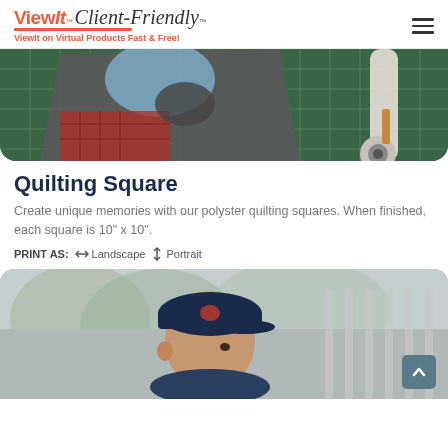ViewIt Client-Friendly™ — ViewIt on Virtual Products Fast & Free!
[Figure (photo): Close-up of quilting fabric on a green cutting mat with a rotary cutter]
Quilting Square
Create unique memories with our polyster quilting squares. When finished, each square is 10" x 10".
PRINT AS:  ↔ Landscape  ↕ Portrait
[Figure (photo): Child wearing a baseball cap looking to the side, outdoor scene]